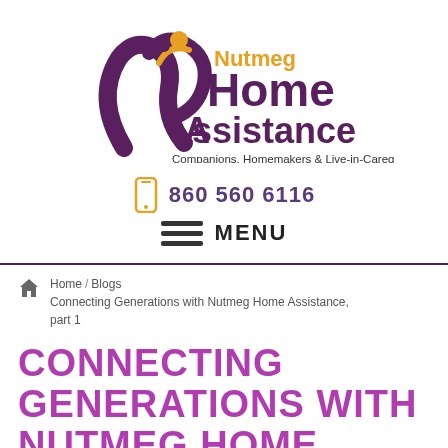[Figure (logo): Nutmeg Home Assistance logo with stylized figure and text reading 'Nutmeg Home Assistance, Companions, Homemakers & Live-in-Caregivers']
860 560 6116
MENU
Home / Blogs / Connecting Generations with Nutmeg Home Assistance, part 1
CONNECTING GENERATIONS WITH NUTMEG HOME